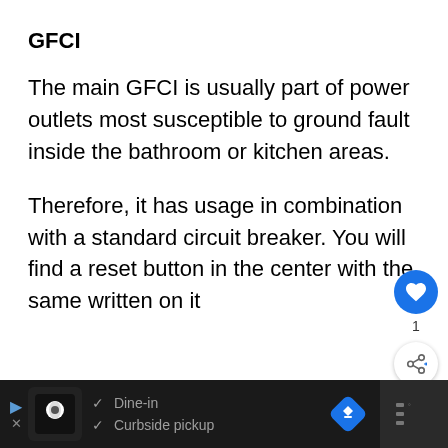GFCI
The main GFCI is usually part of power outlets most susceptible to ground fault inside the bathroom or kitchen areas.
Therefore, it has usage in combination with a standard circuit breaker. You will find a reset button in the center with the same written on it
[Figure (screenshot): Social media UI overlay showing a blue heart/like button with count '1' and a share button]
[Figure (screenshot): What's Next card showing 'How to Replace RV...' with a thumbnail image]
[Figure (screenshot): Advertisement bar at bottom showing restaurant ad with 'Dine-in' and 'Curbside pickup' checkmarks]